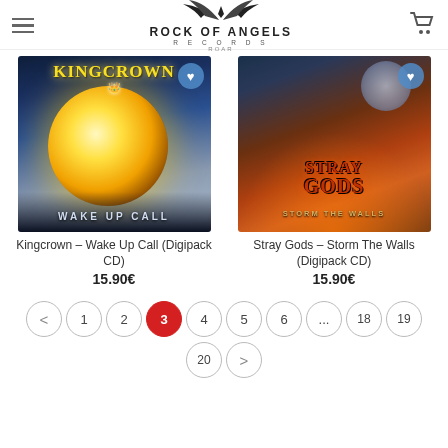Rock Of Angels Records
[Figure (photo): Kingcrown - Wake Up Call album cover with golden light burst, fantasy art, blue and gold tones, KINGCROWN text at top, WAKE UP CALL text at bottom]
[Figure (photo): Stray Gods - Storm The Walls album cover with warrior on horseback in fiery battle scene, STRAY GODS text prominent, STORM THE WALLS text below]
Kingcrown – Wake Up Call (Digipack CD)
15.90€
Stray Gods – Storm The Walls (Digipack CD)
15.90€
< 1 2 3 4 5 6 ... 18 19 20 >